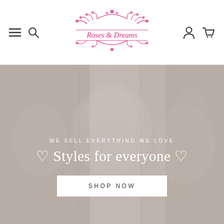Roses & Dreams navigation header with hamburger menu, search icon, logo, account icon, and cart icon
[Figure (screenshot): Hero banner with a soft, light-colored fabric/lace background showing a romantic white floral textile. Overlaid with semi-transparent wash. Text overlay reads: WE SELL EVERYTHING WE LOVE / ♡ Styles for everyone ♡ / SHOP NOW button.]
WE SELL EVERYTHING WE LOVE
♡ Styles for everyone ♡
SHOP NOW